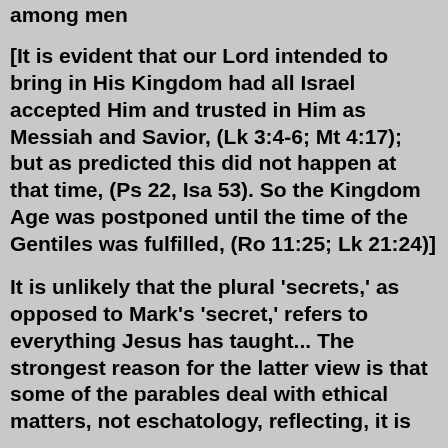among men
[It is evident that our Lord intended to bring in His Kingdom had all Israel accepted Him and trusted in Him as Messiah and Savior, (Lk 3:4-6; Mt 4:17); but as predicted this did not happen at that time, (Ps 22, Isa 53). So the Kingdom Age was postponed until the time of the Gentiles was fulfilled, (Ro 11:25; Lk 21:24)]
It is unlikely that the plural 'secrets,' as opposed to Mark's 'secret,' refers to everything Jesus has taught... The strongest reason for the latter view is that some of the parables deal with ethical matters, not eschatology, reflecting, it is